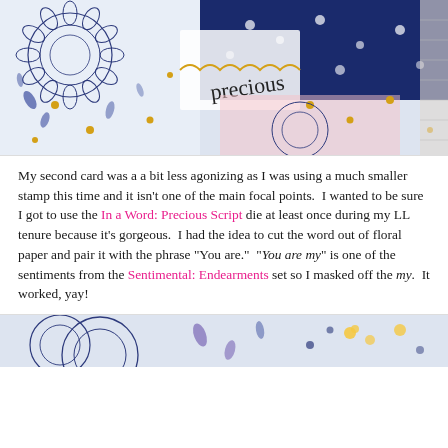[Figure (photo): Colorful scrapbook/craft card collage with blue floral patterned papers, gold embellishments, pink and white layers, the word 'precious' written in script, and lace details.]
My second card was a a bit less agonizing as I was using a much smaller stamp this time and it isn't one of the main focal points.  I wanted to be sure I got to use the In a Word: Precious Script die at least once during my LL tenure because it's gorgeous.  I had the idea to cut the word out of floral paper and pair it with the phrase "You are."  "You are my" is one of the sentiments from the Sentimental: Endearments set so I masked off the my.  It worked, yay!
[Figure (photo): Close-up of blue and white floral patterned scrapbook paper with purple chrysanthemum outlines and small yellow flower accents.]